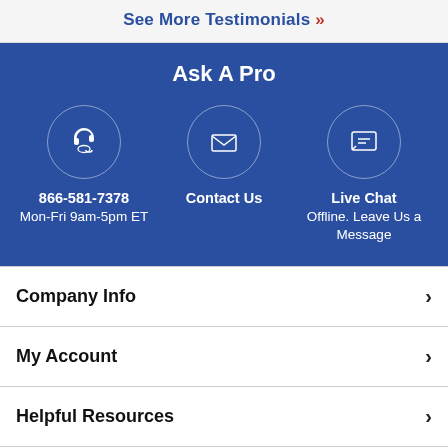See More Testimonials »
Ask A Pro
866-581-7378
Mon-Fri 9am-5pm ET
Contact Us
Live Chat
Offline. Leave Us a Message
Company Info
My Account
Helpful Resources
Shipping & Returns